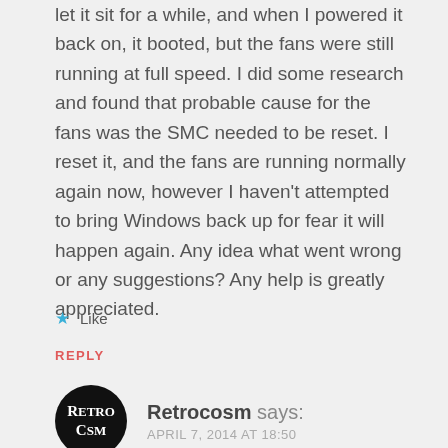let it sit for a while, and when I powered it back on, it booted, but the fans were still running at full speed. I did some research and found that probable cause for the fans was the SMC needed to be reset. I reset it, and the fans are running normally again now, however I haven't attempted to bring Windows back up for fear it will happen again. Any idea what went wrong or any suggestions? Any help is greatly appreciated.
★ Like
REPLY
Retrocosm says: APRIL 7, 2014 AT 18:50